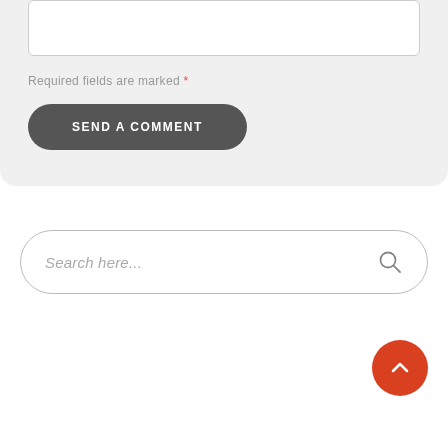[Figure (screenshot): A web form section on a light grey background showing a textarea input box, a required fields notice with red asterisk, and a dark rounded 'SEND A COMMENT' button.]
Required fields are marked *
SEND A COMMENT
[Figure (screenshot): A rounded search bar with placeholder text 'Search here...' and a search icon on the right.]
[Figure (infographic): A red circular back-to-top button with a white upward chevron arrow icon.]